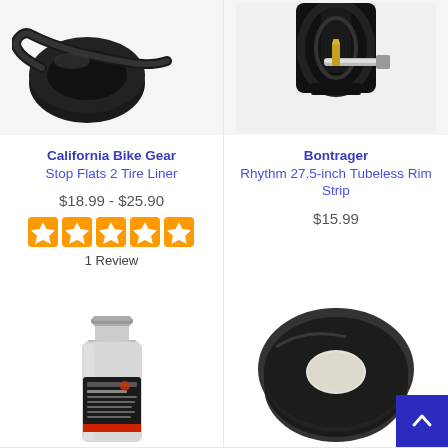[Figure (photo): California Bike Gear Stop Flats 2 Tire Liner product image showing black tire liners]
[Figure (photo): Bontrager Rhythm 27.5-inch Tubeless Rim Strip product image showing bike rim close-up]
California Bike Gear
Stop Flats 2 Tire Liner
Bontrager
Rhythm 27.5-inch Tubeless Rim Strip
$18.99 - $25.90
$15.99
[Figure (other): 5 orange star rating icons]
1 Review
[Figure (photo): Bottle of flat tire sealant/coolant primer product]
[Figure (photo): Black tubeless rim tape roll]